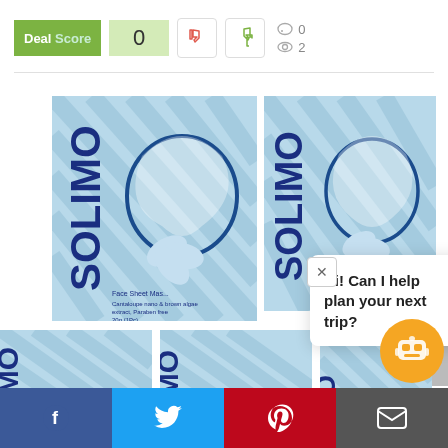[Figure (screenshot): Deal Score widget showing score of 0 with thumbs up/down vote buttons and stats showing 0 comments and 2 views]
[Figure (photo): Solimo face sheet mask product boxes shown in a grid layout — two larger images on top row and three smaller images on bottom row]
Hi! Can I help plan your next trip?
[Figure (infographic): Social sharing bottom bar with Facebook, Twitter, Pinterest, and email icons]